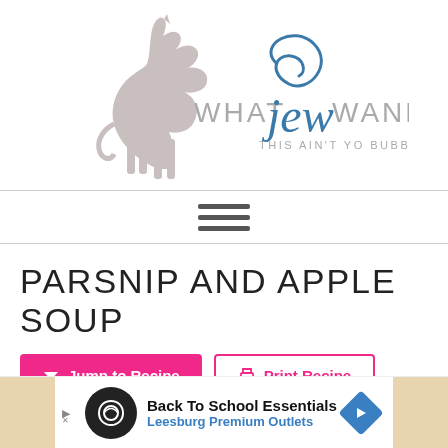[Figure (logo): What Jew Wanna Eat blog logo with a unicorn silhouette and stylized cursive/serif text reading 'WHAT jew WANNA EAT – THIS AIN'T YO BUBBE'S BLOG']
[Figure (other): Hamburger menu icon (three horizontal bars) centered between two horizontal divider lines]
PARSNIP AND APPLE SOUP
Jump to Recipe | Print Recipe
[Figure (infographic): Advertisement banner: Back To School Essentials – Leesburg Premium Outlets, with infinity-loop logo and blue diamond arrow icon]